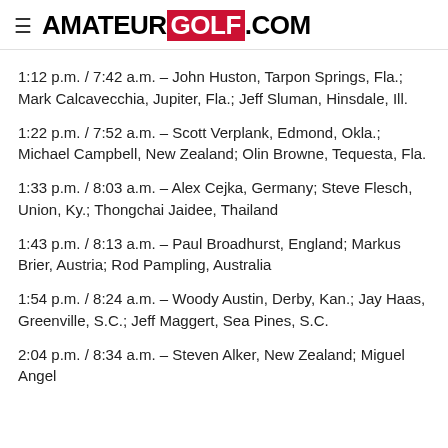AMATEUR GOLF.COM
1:12 p.m. / 7:42 a.m. – John Huston, Tarpon Springs, Fla.; Mark Calcavecchia, Jupiter, Fla.; Jeff Sluman, Hinsdale, Ill.
1:22 p.m. / 7:52 a.m. – Scott Verplank, Edmond, Okla.; Michael Campbell, New Zealand; Olin Browne, Tequesta, Fla.
1:33 p.m. / 8:03 a.m. – Alex Cejka, Germany; Steve Flesch, Union, Ky.; Thongchai Jaidee, Thailand
1:43 p.m. / 8:13 a.m. – Paul Broadhurst, England; Markus Brier, Austria; Rod Pampling, Australia
1:54 p.m. / 8:24 a.m. – Woody Austin, Derby, Kan.; Jay Haas, Greenville, S.C.; Jeff Maggert, Sea Pines, S.C.
2:04 p.m. / 8:34 a.m. – Steven Alker, New Zealand; Miguel Angel...